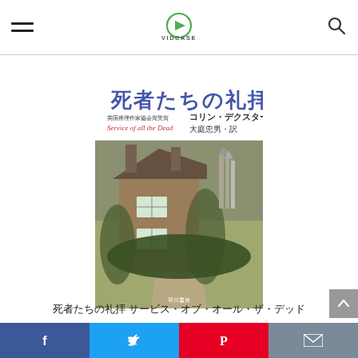VIDCASE
[Figure (photo): Book cover of '死者たちの礼拝 (Service of all the Dead)' by Colin Dexter, translated by 大庭忠男. Cover shows an English countryside cottage with a Gothic cathedral in the background. Published by Hayakawa Shobo. Text on cover includes: 死者たちの礼拝, 英国推理作家協会賞受賞, Service of all the Dead, コリン・デクスター, 大庭忠男・訳]
死者たちの礼拝 サービス・オブ・オール・ザ・デッド